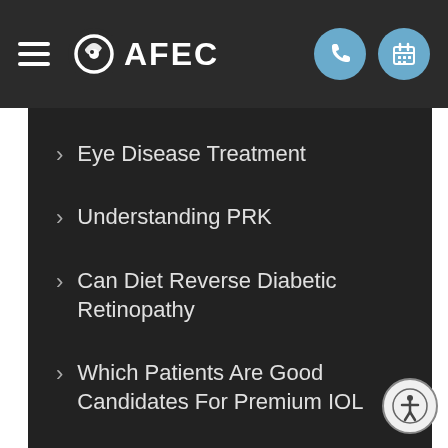AFEC navigation header
Eye Disease Treatment
Understanding PRK
Can Diet Reverse Diabetic Retinopathy
Which Patients Are Good Candidates For Premium IOL